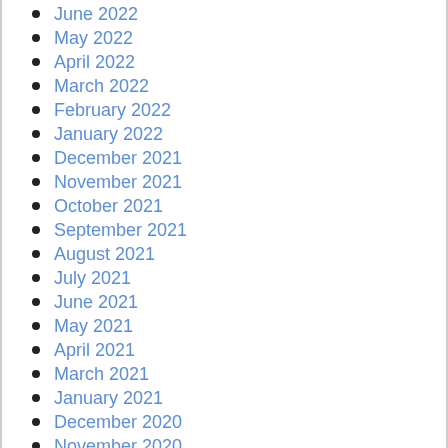June 2022
May 2022
April 2022
March 2022
February 2022
January 2022
December 2021
November 2021
October 2021
September 2021
August 2021
July 2021
June 2021
May 2021
April 2021
March 2021
January 2021
December 2020
November 2020